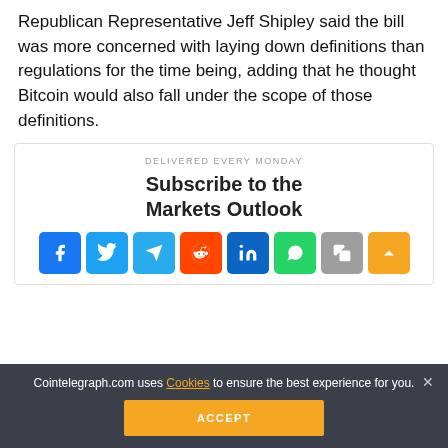Republican Representative Jeff Shipley said the bill was more concerned with laying down definitions than regulations for the time being, adding that he thought Bitcoin would also fall under the scope of those definitions.
DELIVERED EVERY MONDAY
Subscribe to the Markets Outlook
[Figure (infographic): Social media sharing buttons: Facebook, Twitter, Telegram, Reddit, LinkedIn, WhatsApp, Copy, Scroll-to-top]
Cointelegraph.com uses Cookies to ensure the best experience for you.
ACCEPT